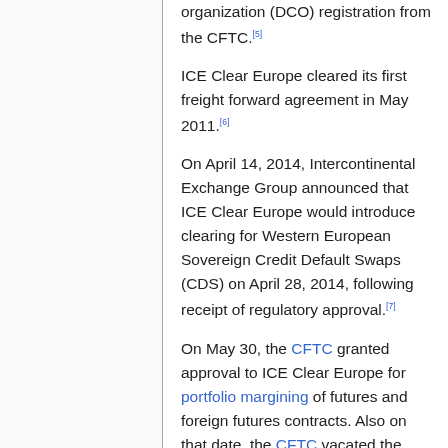organization (DCO) registration from the CFTC.[5]
ICE Clear Europe cleared its first freight forward agreement in May 2011.[6]
On April 14, 2014, Intercontinental Exchange Group announced that ICE Clear Europe would introduce clearing for Western European Sovereign Credit Default Swaps (CDS) on April 28, 2014, following receipt of regulatory approval.[7]
On May 30, the CFTC granted approval to ICE Clear Europe for portfolio margining of futures and foreign futures contracts. Also on that date, the CFTC vacated the registration of New York Portfolio Clearing, the fixed income clearing venture between NYSE and DTCC, as a Derivatives Clearing Organization.[8] NYPC migrated its